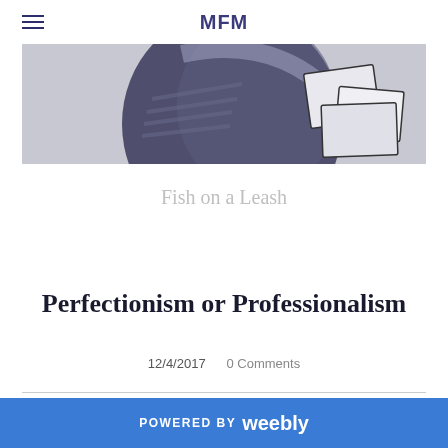MFM
[Figure (illustration): Pencil/charcoal drawing showing a circular dark form (possibly a wheel or eye) with rectangular shapes on the right side, on a light grey background.]
Fish on a Leash
Perfectionism or Professionalism
12/4/2017   0 Comments
POWERED BY weebly